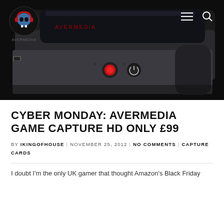[Figure (photo): Website header with dark background showing a gaming capture device (AverMedia Game Capture HD) from a front-angle view. Device is dark/black with red recording button, power button, USB port on the left side. Website logo (skull with red headphones) and navigation icons (hamburger menu and search) visible in top-left and top-right corners respectively.]
CYBER MONDAY: AVERMEDIA GAME CAPTURE HD ONLY £99
BY IKINGOFHOUSE | NOVEMBER 25, 2012 | NO COMMENTS | CAPTURE CARDS
I doubt I'm the only UK gamer that thought Amazon's Black Friday